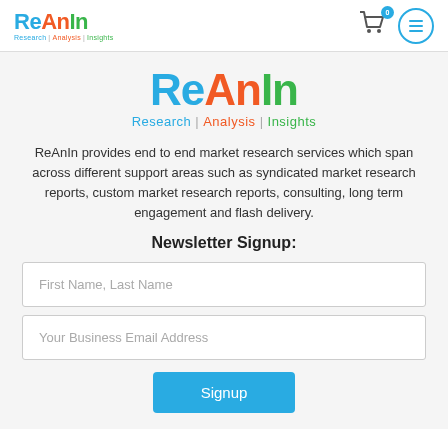[Figure (logo): ReAnIn logo small in header - Re in blue, An in orange, In in green, with tagline Research | Analysis | Insights]
[Figure (logo): ReAnIn logo large centered - Re in blue, An in orange, In in green, with tagline Research | Analysis | Insights]
ReAnIn provides end to end market research services which span across different support areas such as syndicated market research reports, custom market research reports, consulting, long term engagement and flash delivery.
Newsletter Signup:
First Name, Last Name
Your Business Email Address
Signup